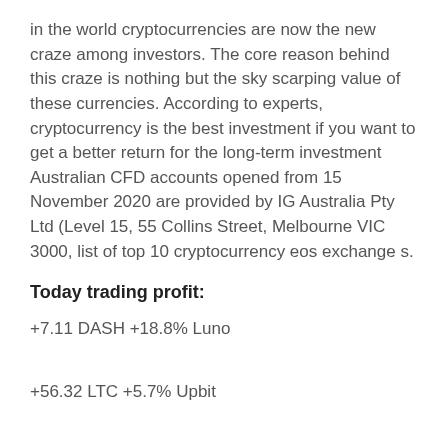in the world cryptocurrencies are now the new craze among investors. The core reason behind this craze is nothing but the sky scarping value of these currencies. According to experts, cryptocurrency is the best investment if you want to get a better return for the long-term investment Australian CFD accounts opened from 15 November 2020 are provided by IG Australia Pty Ltd (Level 15, 55 Collins Street, Melbourne VIC 3000, list of top 10 cryptocurrency eos exchange s.
Today trading profit:
+7.11 DASH +18.8% Luno
+56.32 LTC +5.7% Upbit
+69.17 BRL +12.2% Bithumb